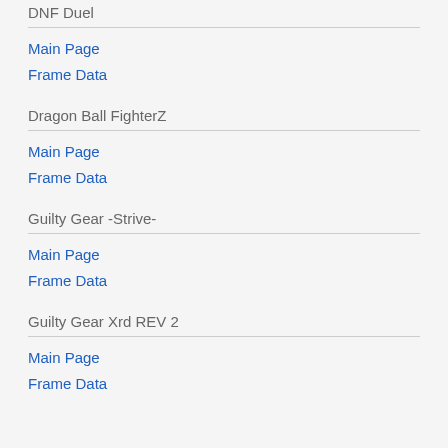DNF Duel
Main Page
Frame Data
Dragon Ball FighterZ
Main Page
Frame Data
Guilty Gear -Strive-
Main Page
Frame Data
Guilty Gear Xrd REV 2
Main Page
Frame Data